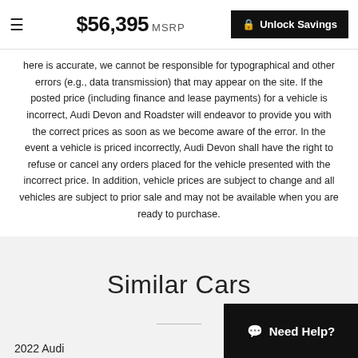$56,395 MSRP  Unlock Savings
here is accurate, we cannot be responsible for typographical and other errors (e.g., data transmission) that may appear on the site. If the posted price (including finance and lease payments) for a vehicle is incorrect, Audi Devon and Roadster will endeavor to provide you with the correct prices as soon as we become aware of the error. In the event a vehicle is priced incorrectly, Audi Devon shall have the right to refuse or cancel any orders placed for the vehicle presented with the incorrect price. In addition, vehicle prices are subject to change and all vehicles are subject to prior sale and may not be available when you are ready to purchase.
Similar Cars
2022 Audi